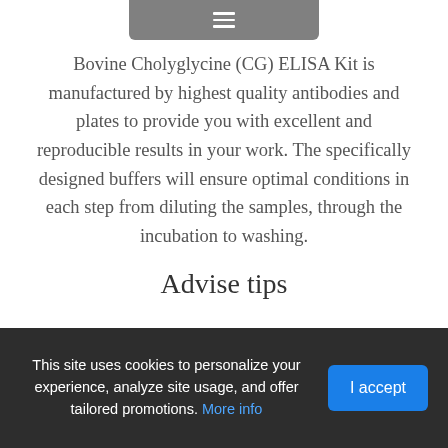[Figure (other): Navigation hamburger menu button (gray rounded rectangle with three horizontal white lines)]
Bovine Cholyglycine (CG) ELISA Kit is manufactured by highest quality antibodies and plates to provide you with excellent and reproducible results in your work. The specifically designed buffers will ensure optimal conditions in each step from diluting the samples, through the incubation to washing.
Advise tips
Small volumes of the liquid components of the CG ELISA Kit may get caught on the vials' walls and seals. Prior to use, briefly centrifuge the vials to ensure that all of the vial's content is on the bottom of the vial.
This site uses cookies to personalize your experience, analyze site usage, and offer tailored promotions. More info